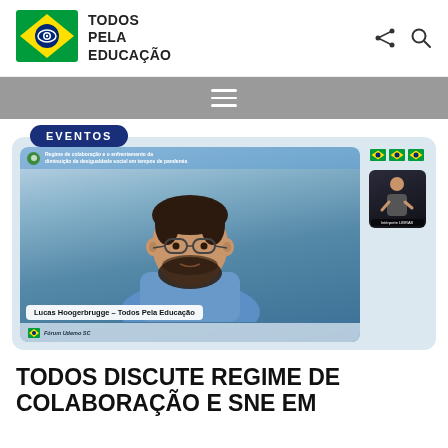[Figure (logo): Todos Pela Educação logo — diamond eye shape on Brazilian flag colors with text TODOS PELA EDUCAÇÃO]
TODOS PELA EDUCAÇÃO
[Figure (screenshot): Screenshot of a video conference/webinar showing Lucas Hoogerbrugge from Todos Pela Educação speaking, with a sign language interpreter sidebar. A badge reads EVENTOS.]
TODOS DISCUTE REGIME DE COLABORAÇÃO E SNE EM